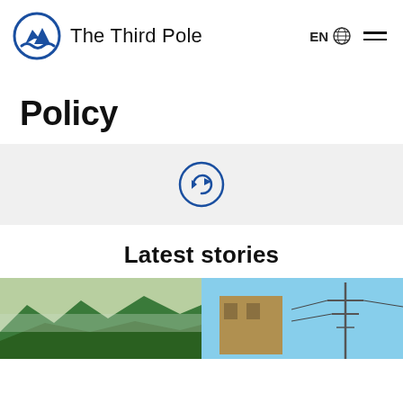The Third Pole — EN (globe icon) — hamburger menu
Policy
[Figure (logo): Circular icon with blue mountains and river/wave, blue outlined circle, used as loading/share spinner in a light gray band]
Latest stories
[Figure (photo): Left thumbnail: green forested mountains with river valley scene]
[Figure (photo): Right thumbnail: brownish building/structure with electricity pylon against blue sky]